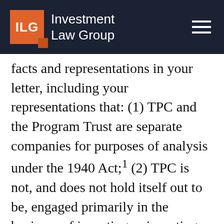Investment Law Group
facts and representations in your letter, including your representations that: (1) TPC and the Program Trust are separate companies for purposes of analysis under the 1940 Act;¹ (2) TPC is not, and does not hold itself out to be, engaged primarily in the business of investing, reinvesting, or trading in securities; (3) TPC does not and will not own or hold any “investment securities,” as that term is defined in Section 3(a)(2) of the 1940 Act; and (4) the Program